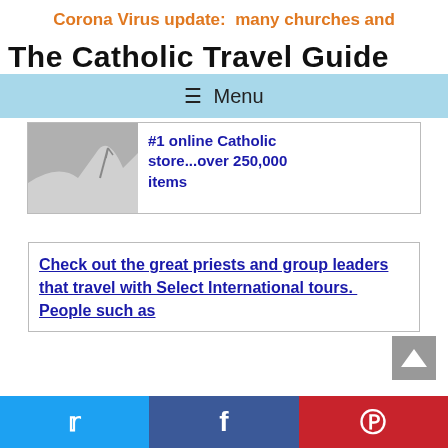Corona Virus update:  many churches and
The Catholic Travel Guide
≡ Menu
[Figure (photo): Small grayscale photo of what appears to be a religious item or figurine]
#1 online Catholic store...over 250,000 items
Check out the great priests and group leaders that travel with Select International tours.  People such as
Twitter | Facebook | Pinterest social share bar